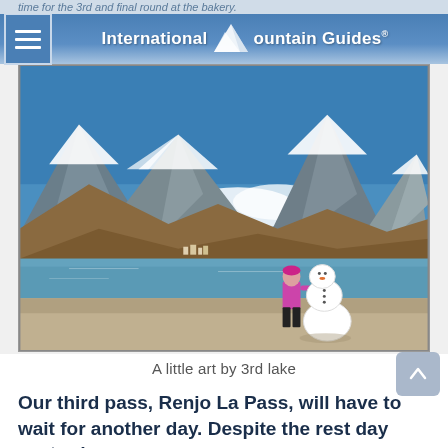time for the 3rd and final round at the bakery.
International Mountain Guides
[Figure (photo): A person in a pink jacket standing next to a snowman beside a glacial lake, with snow-capped mountains in the background under a clear blue sky.]
A little art by 3rd lake
Our third pass, Renjo La Pass, will have to wait for another day. Despite the rest day yesterday